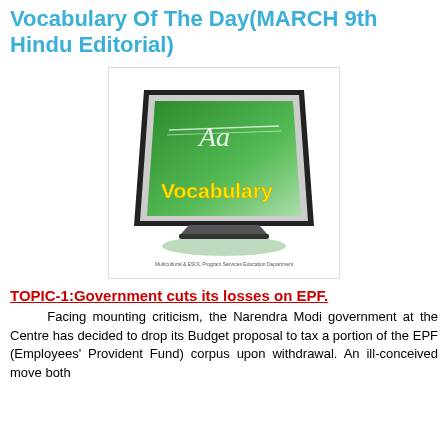Vocabulary Of The Day(MARCH 9th Hindu Editorial)
[Figure (illustration): Vocabulary illustration showing a chalkboard/screen with 'Aa' and 'Vocabulary' in bold yellow text on a green background, with a shadow underneath. Caption reads: Multicultural & ESOL Program Services Education Department]
TOPIC-1:Government cuts its losses on EPF.
Facing mounting criticism, the Narendra Modi government at the Centre has decided to drop its Budget proposal to tax a portion of the EPF (Employees' Provident Fund) corpus upon withdrawal. An ill-conceived move both